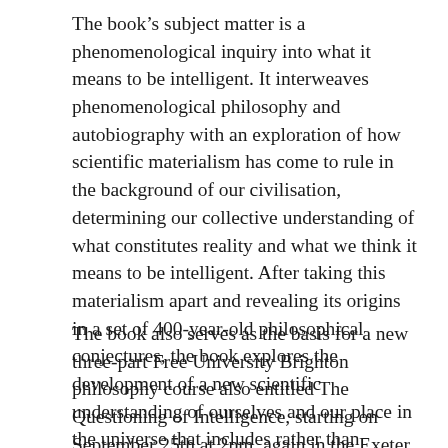The book's subject matter is a phenomenological inquiry into what it means to be intelligent. It interweaves phenomenological philosophy and autobiography with an exploration of how scientific materialism has come to rule in the background of our civilisation, determining our collective understanding of what constitutes reality and what we think it means to be intelligent. After taking this materialism apart and revealing its origins in a set of 400-year-old philosophical conjectures, the book explores the development of a new scientific understanding of ourselves and our place in the universe that includes rather than overlooks the intrinsic meaningfulness of our conscious intelligence.
The book also serves as the basis for a new three-part Free University Brighton philosophy course also entitled The Questioning of Intelligence, starting on September 25th at 2pm, again in the Exeter Street Hall (open to all and free of charge, but donations are gratefully accepted).